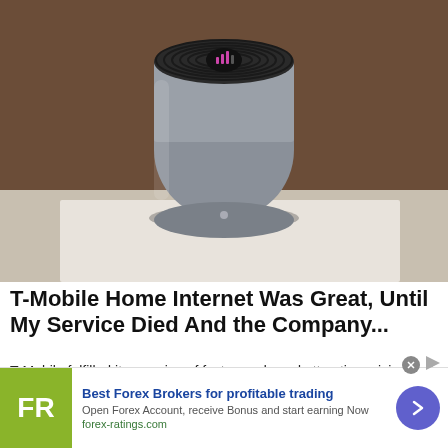[Figure (photo): T-Mobile Home Internet cylindrical router device sitting on a white surface against a warm brown background. The device is silver/gray cylindrical with concentric black rings on top and a small signal indicator light.]
T-Mobile Home Internet Was Great, Until My Service Died And the Company...
T-Mobile fulfilled its promise of fast speeds and attractive pricing, but the service died after two weeks.
Tomshardware
[Figure (infographic): Advertisement banner for Best Forex Brokers featuring FR logo in olive/green background, blue bold text title, subtitle text, forex-ratings.com URL, and a blue/purple circular arrow button.]